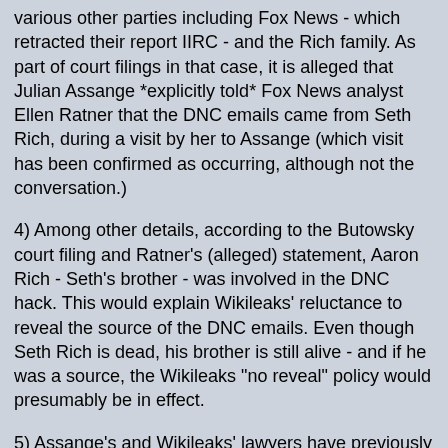various other parties including Fox News - which retracted their report IIRC - and the Rich family. As part of court filings in that case, it is alleged that Julian Assange *explicitly told* Fox News analyst Ellen Ratner that the DNC emails came from Seth Rich, during a visit by her to Assange (which visit has been confirmed as occurring, although not the conversation.)
4) Among other details, according to the Butowsky court filing and Ratner's (alleged) statement, Aaron Rich - Seth's brother - was involved in the DNC hack. This would explain Wikileaks' reluctance to reveal the source of the DNC emails. Even though Seth Rich is dead, his brother is still alive - and if he was a source, the Wikileaks "no reveal" policy would presumably be in effect.
5) Assange's and Wikileaks' lawyers have previously offered a deal to the US Department of Justice, whereby they would provide what was described as "technical evidence" that the DNC emails did *not* come from Russia in exchange for considerations over Assange. Allegedly when James Comey heard of this, he tried to get a US Senator to derail the DoJ process. While the DoJ allegedly refused that influence effort, Wikileaks allegedly got cold feet and backed away from the deal.
Notice I use the term "allegedly" all over the place because there is absolutely *nothing* concrete about any of this (also leaving aside oldhippie's "spook paranoia" about Assange, a